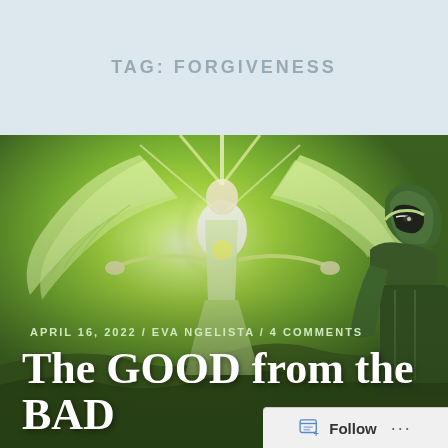TAG: FORGIVENESS
[Figure (illustration): Fantasy illustration showing a glowing angelic figure with large wings spread wide, emanating bright yellow-green light in center, and a warrior figure in green armor on the right side. Green misty landscape background.]
APRIL 16, 2022 / EVA NGELISTA / 4 COMMENTS
The GOOD from the BAD